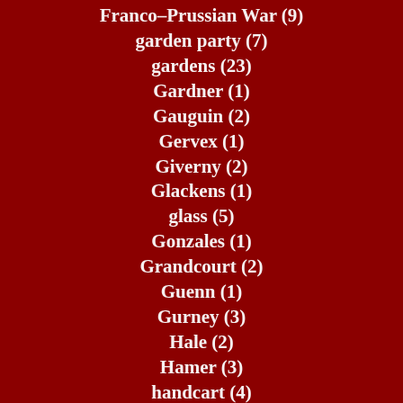Franco–Prussian War (9)
garden party (7)
gardens (23)
Gardner (1)
Gauguin (2)
Gervex (1)
Giverny (2)
Glackens (1)
glass (5)
Gonzales (1)
Grandcourt (2)
Guenn (1)
Gurney (3)
Hale (2)
Hamer (3)
handcart (4)
Hassam (3)
hats (4)
Haussmann (2)